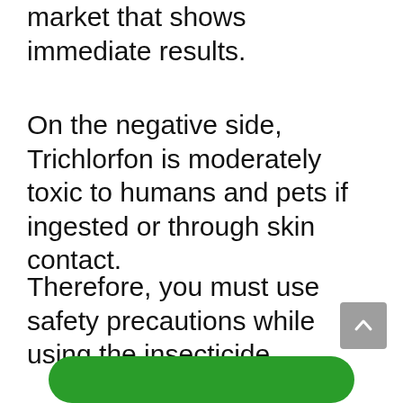market that shows immediate results.
On the negative side, Trichlorfon is moderately toxic to humans and pets if ingested or through skin contact.
Therefore, you must use safety precautions while using the insecticide.